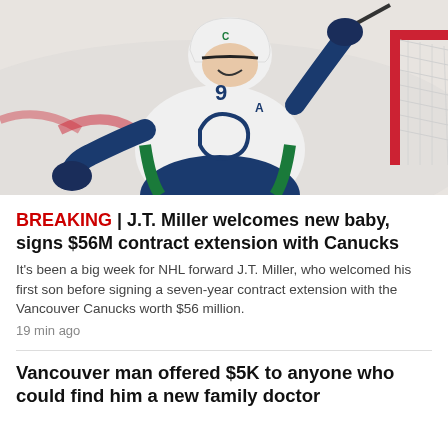[Figure (photo): Hockey player wearing Vancouver Canucks white jersey with number 9 and alternate captain 'A' patch, celebrating near a red goal post, holding a hockey stick, mouth open in celebration]
BREAKING | J.T. Miller welcomes new baby, signs $56M contract extension with Canucks
It's been a big week for NHL forward J.T. Miller, who welcomed his first son before signing a seven-year contract extension with the Vancouver Canucks worth $56 million.
19 min ago
Vancouver man offered $5K to anyone who could find him a new family doctor